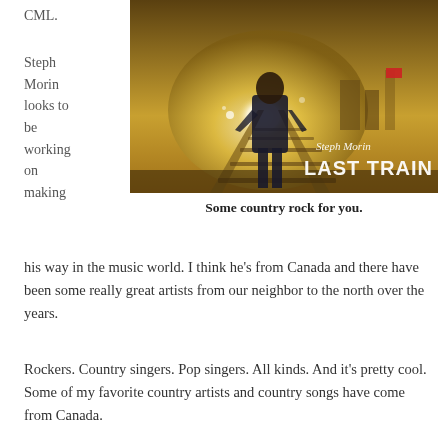CML.
[Figure (photo): Album cover for 'Last Train' by Steph Morin. A person stands on railway tracks with a glowing backlight and industrial background. Text on image: 'Steph Morin LAST TRAIN']
Steph Morin looks to be working on making
Some country rock for you.
his way in the music world. I think he's from Canada and there have been some really great artists from our neighbor to the north over the years.
Rockers. Country singers. Pop singers. All kinds. And it's pretty cool. Some of my favorite country artists and country songs have come from Canada.